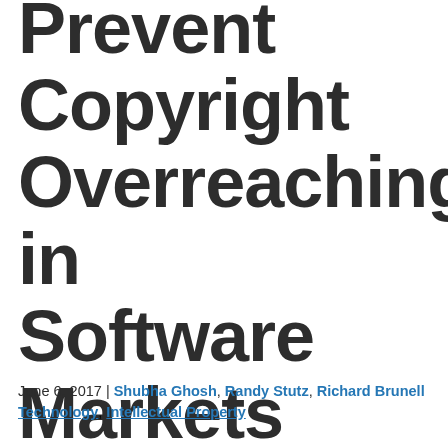Prevent Copyright Overreaching in Software Markets (Oracle v. Google)
June 6, 2017 | Shubha Ghosh, Randy Stutz, Richard Brunell
Technology, Intellectual Property